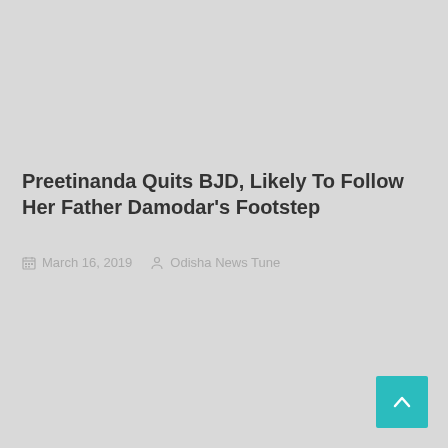Preetinanda Quits BJD, Likely To Follow Her Father Damodar's Footstep
March 16, 2019   Odisha News Tune